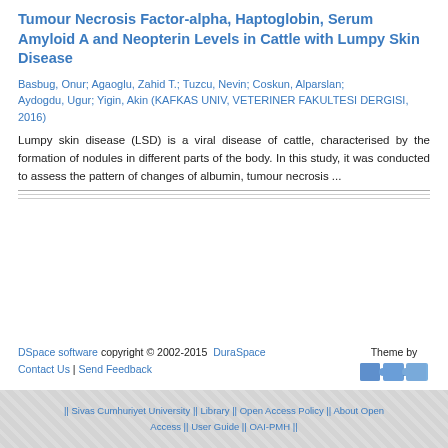Tumour Necrosis Factor-alpha, Haptoglobin, Serum Amyloid A and Neopterin Levels in Cattle with Lumpy Skin Disease
Basbug, Onur; Agaoglu, Zahid T.; Tuzcu, Nevin; Coskun, Alparslan; Aydogdu, Ugur; Yigin, Akin (KAFKAS UNIV, VETERINER FAKULTESI DERGISI, 2016)
Lumpy skin disease (LSD) is a viral disease of cattle, characterised by the formation of nodules in different parts of the body. In this study, it was conducted to assess the pattern of changes of albumin, tumour necrosis ...
DSpace software copyright © 2002-2015  DuraSpace  Contact Us | Send Feedback   Theme by @MIRE
|| Sivas Cumhuriyet University || Library || Open Access Policy || About Open Access || User Guide || OAI-PMH ||